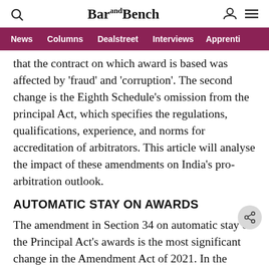Bar and Bench — News, Columns, Dealstreet, Interviews, Apprenti
that the contract on which award is based was affected by 'fraud' and 'corruption'. The second change is the Eighth Schedule's omission from the principal Act, which specifies the regulations, qualifications, experience, and norms for accreditation of arbitrators. This article will analyse the impact of these amendments on India's pro-arbitration outlook.
AUTOMATIC STAY ON AWARDS
The amendment in Section 34 on automatic stay of the Principal Act's awards is the most significant change in the Amendment Act of 2021. In the present system a party can file an application before the Court under Section 34 of the 1996 Act for setting aside an it...